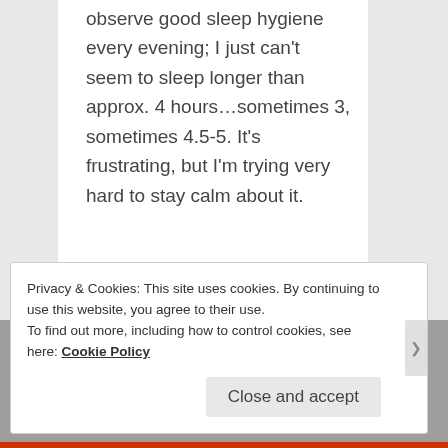observe good sleep hygiene every evening; I just can't seem to sleep longer than approx. 4 hours…sometimes 3, sometimes 4.5-5. It's frustrating, but I'm trying very hard to stay calm about it.
★ Like
Reply ↓
Privacy & Cookies: This site uses cookies. By continuing to use this website, you agree to their use. To find out more, including how to control cookies, see here: Cookie Policy
Close and accept